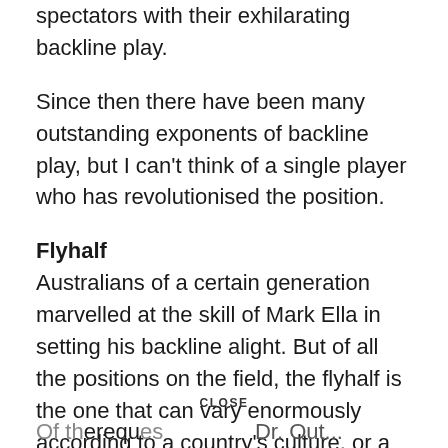spectators with their exhilarating backline play.
Since then there have been many outstanding exponents of backline play, but I can't think of a single player who has revolutionised the position.
Flyhalf
Australians of a certain generation marvelled at the skill of Mark Ella in setting his backline alight. But of all the positions on the field, the flyhalf is the one that can vary enormously according to a country's culture, or a team's personnel and requirements.
CLOSE
Of the…